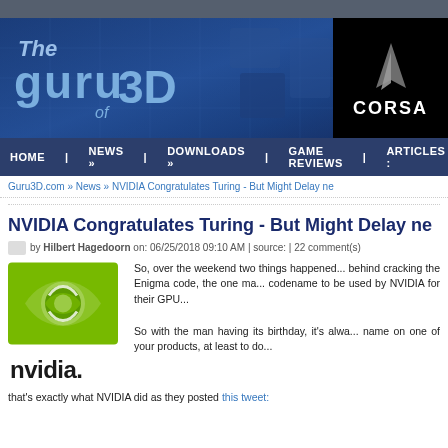[Figure (screenshot): Guru3D.com website banner with blue circuit board background and The Guru of 3D logo text, plus Corsair logo on right]
HOME | NEWS » | DOWNLOADS » | GAME REVIEWS | ARTICLES
Guru3D.com » News » NVIDIA Congratulates Turing - But Might Delay ne
NVIDIA Congratulates Turing - But Might Delay ne
by Hilbert Hagedoorn on: 06/25/2018 09:10 AM | source: | 22 comment(s)
[Figure (logo): NVIDIA green eye logo and NVIDIA wordmark]
So, over the weekend two things happened... behind cracking the Enigma code, the one ma... codename to be used by NVIDIA for their GPU...
So with the man having its birthday, it's alwa... name on one of your products, at least to do... that's exactly what NVIDIA did as they posted this tweet: